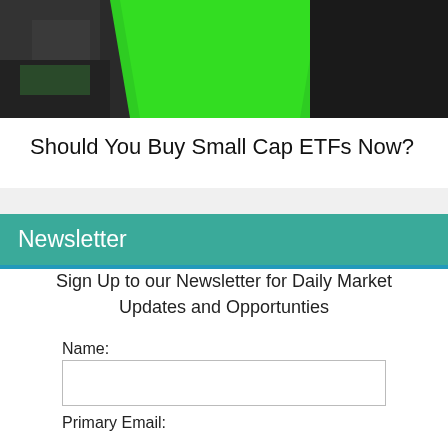[Figure (illustration): Hero banner image showing abstract 3D green, black, and red blocks resembling a market chart visualization]
Should You Buy Small Cap ETFs Now?
Newsletter
Sign Up to our Newsletter for Daily Market Updates and Opportunties
Name:
Primary Email: